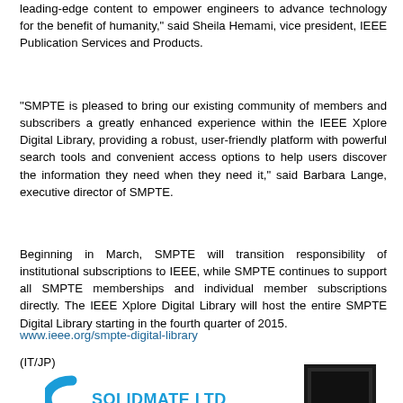leading-edge content to empower engineers to advance technology for the benefit of humanity," said Sheila Hemami, vice president, IEEE Publication Services and Products.
"SMPTE is pleased to bring our existing community of members and subscribers a greatly enhanced experience within the IEEE Xplore Digital Library, providing a robust, user-friendly platform with powerful search tools and convenient access options to help users discover the information they need when they need it," said Barbara Lange, executive director of SMPTE.
Beginning in March, SMPTE will transition responsibility of institutional subscriptions to IEEE, while SMPTE continues to support all SMPTE memberships and individual member subscriptions directly. The IEEE Xplore Digital Library will host the entire SMPTE Digital Library starting in the fourth quarter of 2015.
www.ieee.org/smpte-digital-library
(IT/JP)
[Figure (logo): SOLIDMATE LTD logo with blue curved arrow icon and bold text, plus a dark framed image on the right]